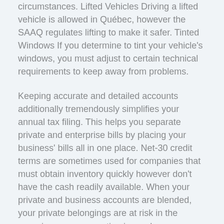circumstances. Lifted Vehicles Driving a lifted vehicle is allowed in Québec, however the SAAQ regulates lifting to make it safer. Tinted Windows If you determine to tint your vehicle's windows, you must adjust to certain technical requirements to keep away from problems.
Keeping accurate and detailed accounts additionally tremendously simplifies your annual tax filing. This helps you separate private and enterprise bills by placing your business' bills all in one place. Net-30 credit terms are sometimes used for companies that must obtain inventory quickly however don't have the cash readily available. When your private and business accounts are blended, your private belongings are at risk in the occasion your corporation is sued.